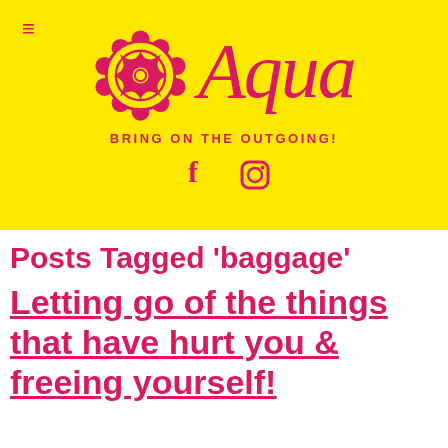[Figure (logo): Yellow header banner with pink mandala flower logo, script 'Aqua' brand name, tagline 'BRING ON THE OUTGOING!' and social media icons (Facebook and Instagram)]
Posts Tagged 'baggage'
Letting go of the things that have hurt you & freeing yourself!